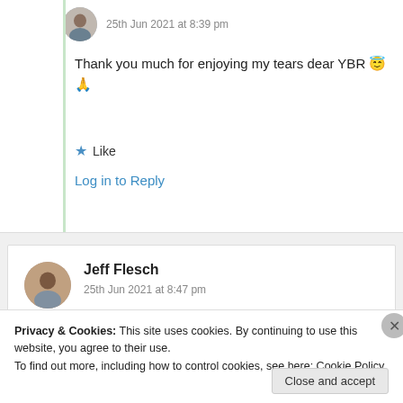25th Jun 2021 at 8:39 pm
Thank you much for enjoying my tears dear YBR 😇🙏
★ Like
Log in to Reply
Jeff Flesch
25th Jun 2021 at 8:47 pm
Privacy & Cookies: This site uses cookies. By continuing to use this website, you agree to their use.
To find out more, including how to control cookies, see here: Cookie Policy
Close and accept